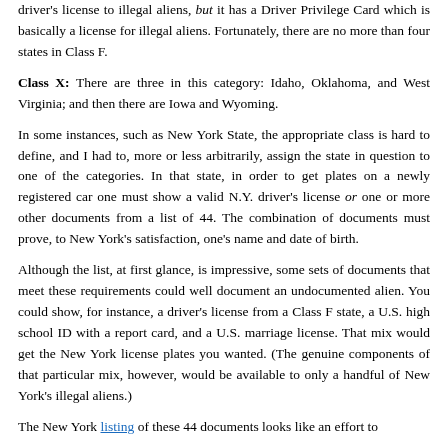driver's license to illegal aliens, but it has a Driver Privilege Card which is basically a license for illegal aliens. Fortunately, there are no more than four states in Class F.
Class X: There are three in this category: Idaho, Oklahoma, and West Virginia; and then there are Iowa and Wyoming.
In some instances, such as New York State, the appropriate class is hard to define, and I had to, more or less arbitrarily, assign the state in question to one of the categories. In that state, in order to get plates on a newly registered car one must show a valid N.Y. driver's license or one or more other documents from a list of 44. The combination of documents must prove, to New York's satisfaction, one's name and date of birth.
Although the list, at first glance, is impressive, some sets of documents that meet these requirements could well document an undocumented alien. You could show, for instance, a driver's license from a Class F state, a U.S. high school ID with a report card, and a U.S. marriage license. That mix would get the New York license plates you wanted. (The genuine components of that particular mix, however, would be available to only a handful of New York's illegal aliens.)
The New York listing of these 44 documents looks like an effort to